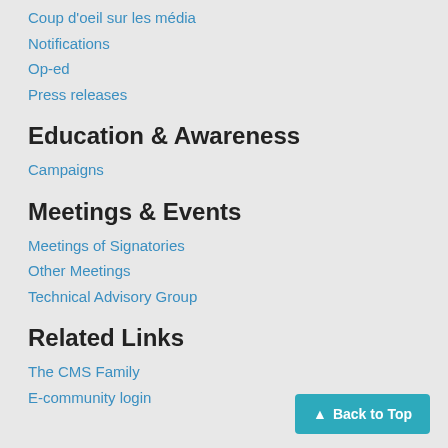Coup d'oeil sur les média
Notifications
Op-ed
Press releases
Education & Awareness
Campaigns
Meetings & Events
Meetings of Signatories
Other Meetings
Technical Advisory Group
Related Links
The CMS Family
E-community login